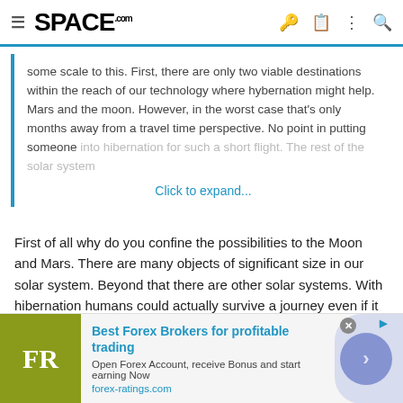SPACE.com
some scale to this. First, there are only two viable destinations within the reach of our technology where hybernation might help. Mars and the moon. However, in the worst case that's only months away from a travel time perspective. No point in putting someone into hibernation for such a short flight. The rest of the solar system
Click to expand...
First of all why do you confine the possibilities to the Moon and Mars. There are many objects of significant size in our solar system. Beyond that there are other solar systems. With hibernation humans could actually survive a journey even if it takes hundreds of years.
Second of all even for trips to closer objects like Mars it would still be worth it. Not only would crew members consume no expendable
[Figure (other): Advertisement banner for forex-ratings.com: Best Forex Brokers for profitable trading. Shows FR logo on olive/yellow background with text and arrow button.]